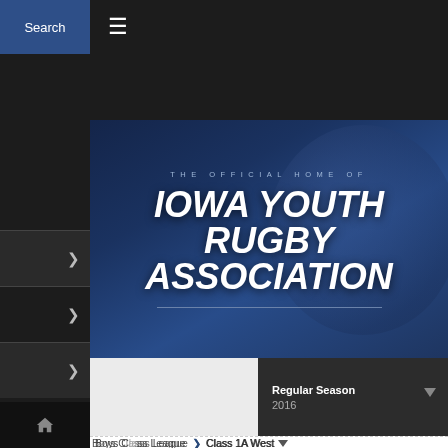[Figure (screenshot): Iowa Youth Rugby Association website screenshot showing the official banner with 'THE OFFICIAL HOME OF' tagline and 'IOWA YOUTH RUGBY ASSOCIATION' as main title in bold italic white text on dark blue background, with navigation sidebar on the left, a Regular Season 2016 dropdown, Boys C__ League breadcrumb with Class 1A West dropdown, and 'Varsity Class 1A Western IA' section heading with icon navigation row at the bottom.]